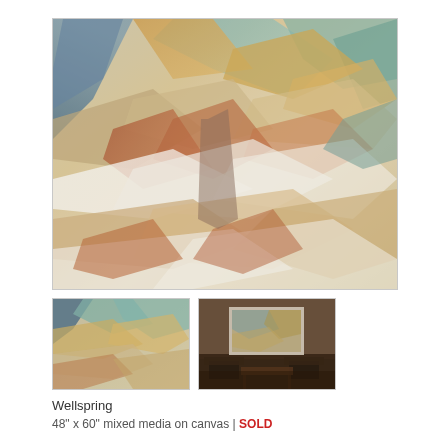[Figure (photo): Large abstract mixed media painting on canvas — 'Wellspring'. Abstract landscape with layered diagonal forms in earth tones, blues, teals, oranges, and whites suggesting geological strata or a natural scene.]
[Figure (photo): Small thumbnail detail of the Wellspring painting showing the upper-left portion with blues and earth tones.]
[Figure (photo): Small thumbnail showing the Wellspring painting installed in a room with chairs and furniture, dark interior setting.]
Wellspring
48" x 60" mixed media on canvas | SOLD